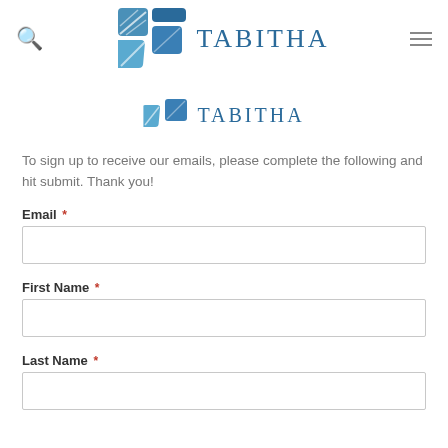[Figure (logo): Tabitha logo in navigation bar — blue geometric icon with two rectangular shapes and the word TABITHA in blue serif letters]
[Figure (logo): Tabitha logo partially cropped — bottom portion visible with partial blue icon and partial TABITHA text]
To sign up to receive our emails, please complete the following and hit submit. Thank you!
Email *
First Name *
Last Name *